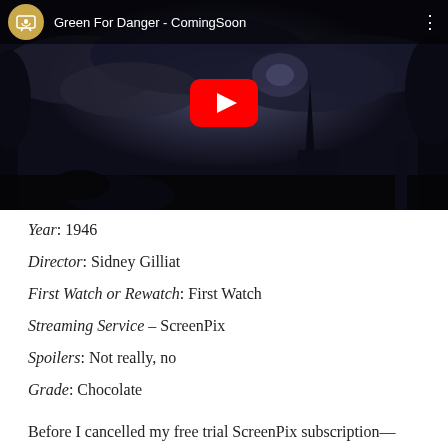[Figure (screenshot): YouTube video thumbnail for 'Green For Danger - ComingSoon' showing a dark, moody scene with a church spire silhouette against a stormy sky. A red YouTube play button is centered over the image. The video bar at top shows a golden microphone channel icon, the video title 'Green For Danger - ComingSoon', and a three-dots menu icon.]
Year: 1946
Director: Sidney Gilliat
First Watch or Rewatch: First Watch
Streaming Service – ScreenPix
Spoilers: Not really, no
Grade: Chocolate
Before I cancelled my free trial ScreenPix subscription—